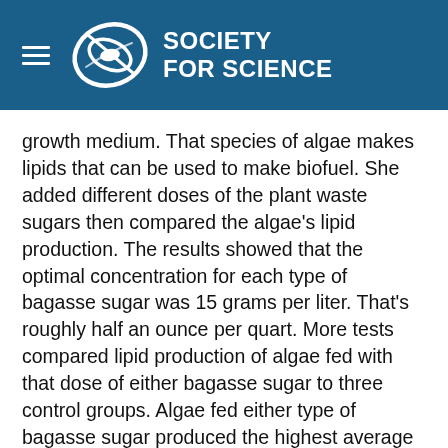SOCIETY FOR SCIENCE
growth medium. That species of algae makes lipids that can be used to make biofuel. She added different doses of the plant waste sugars then compared the algae's lipid production. The results showed that the optimal concentration for each type of bagasse sugar was 15 grams per liter. That's roughly half an ounce per quart. More tests compared lipid production of algae fed with that dose of either bagasse sugar to three control groups. Algae fed either type of bagasse sugar produced the highest average amount of lipids from three culture samples. Algae fed with glucose from refined sugar had roughly eight percent more biomass. The bagasse sugars could effectively be used to help produce biofuel, Vivaana concludes.